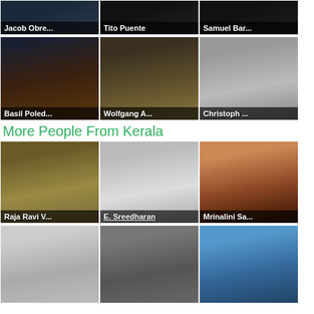[Figure (photo): Grid of person photo cards. Row 1: Jacob Obre..., Tito Puente, Samuel Bar...]
[Figure (photo): Row 2: Basil Poled..., Wolfgang A..., Christoph ...]
More People From Kerala
[Figure (photo): Row 3: Raja Ravi V..., E. Sreedharan, Mrinalini Sa...]
[Figure (photo): Row 4: (three unnamed people from Kerala)]